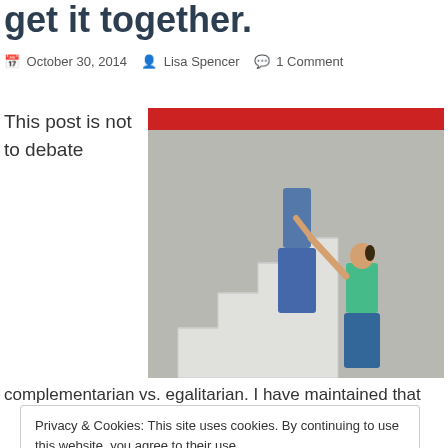get it together.
October 30, 2014  Lisa Spencer  1 Comment
This post is not to debate
[Figure (photo): Two people on concrete stairs — one person climbing up, another reaching up from behind. The staircase is in a concrete structure with a red beam visible at the top.]
complementarian vs. egalitarian. I have maintained that
Privacy & Cookies: This site uses cookies. By continuing to use this website, you agree to their use.
To find out more, including how to control cookies, see here: Cookie Policy
Close and accept